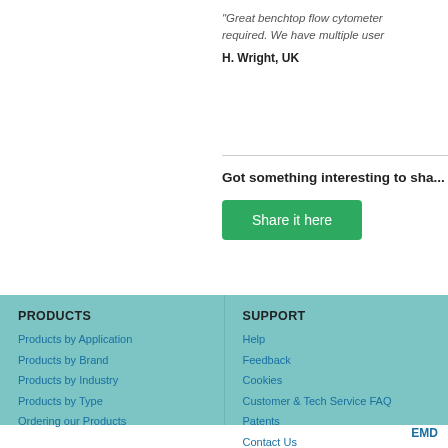"Great benchtop flow cytometer... required. We have multiple user...
H. Wright, UK
Got something interesting to sha...
Share it here
PRODUCTS
Products by Application
Products by Brand
Products by Industry
Products by Type
Ordering our Products
SUPPORT
Help
Feedback
Cookies
Customer & Tech Service FAQ
Patents
Contact Us
EMD